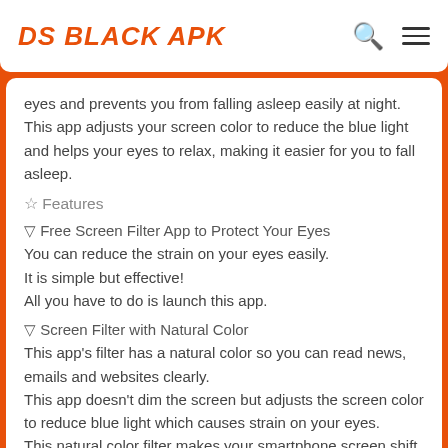DS BLACK APK
eyes and prevents you from falling asleep easily at night.
This app adjusts your screen color to reduce the blue light and helps your eyes to relax, making it easier for you to fall asleep.
☆ Features
▽ Free Screen Filter App to Protect Your Eyes
You can reduce the strain on your eyes easily.
It is simple but effective!
All you have to do is launch this app.
▽ Screen Filter with Natural Color
This app's filter has a natural color so you can read news, emails and websites clearly.
This app doesn't dim the screen but adjusts the screen color to reduce blue light which causes strain on your eyes.
This natural color filter makes your smartphone screen shift to the screen for night.
▽ Auto mode